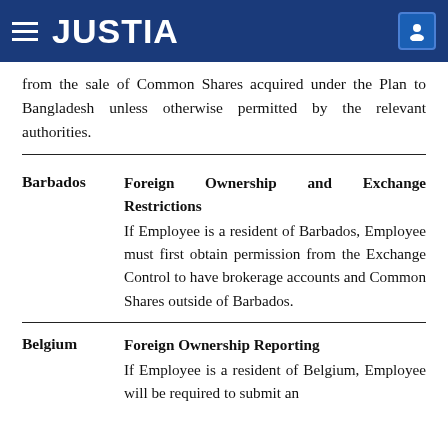JUSTIA
from the sale of Common Shares acquired under the Plan to Bangladesh unless otherwise permitted by the relevant authorities.
Barbados — Foreign Ownership and Exchange Restrictions
If Employee is a resident of Barbados, Employee must first obtain permission from the Exchange Control to have brokerage accounts and Common Shares outside of Barbados.
Belgium — Foreign Ownership Reporting
If Employee is a resident of Belgium, Employee will be required to submit an